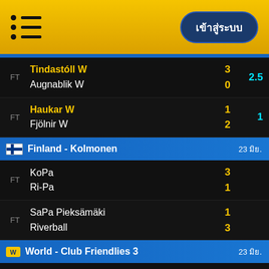เข้าสู่ระบบ
| Status | Teams | Score | Odds |
| --- | --- | --- | --- |
| FT | Tindastóll W / Augnablik W | 3 / 0 | 2.5 |
| FT | Haukar W / Fjölnir W | 1 / 2 | 1 |
| Section | Finland - Kolmonen |  | 23 มิย. |
| FT | KoPa / Ri-Pa | 3 / 1 |  |
| FT | SaPa Pieksämäki / Riverball | 1 / 3 |  |
| Section | World - Club Friendlies 3 |  | 23 มิย. |
| FT | Cherno More / Hebar 1918 | 1 / 2 |  |
| FT | Lech Poznań / Pogoń Szczecin | 0 / 1 | 0.5 |